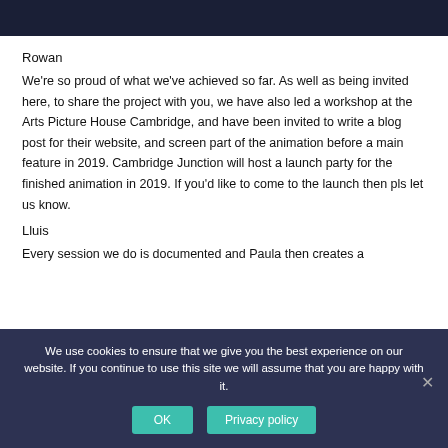[Figure (other): Dark navy/indigo header bar at top of page]
Rowan
We're so proud of what we've achieved so far. As well as being invited here, to share the project with you, we have also led a workshop at the Arts Picture House Cambridge, and have been invited to write a blog post for their website, and screen part of the animation before a main feature in 2019. Cambridge Junction will host a launch party for the finished animation in 2019. If you'd like to come to the launch then pls let us know.
Lluis
Every session we do is documented and Paula then creates a
We use cookies to ensure that we give you the best experience on our website. If you continue to use this site we will assume that you are happy with it.
OK
Privacy policy